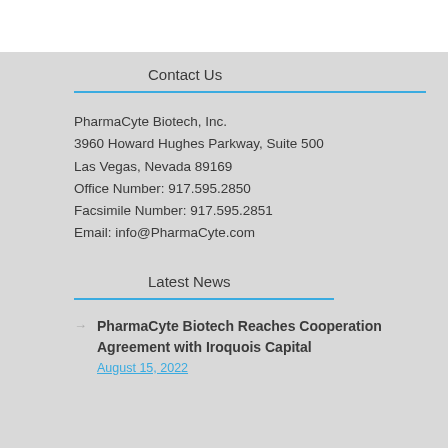Contact Us
PharmaCyte Biotech, Inc.
3960 Howard Hughes Parkway, Suite 500
Las Vegas, Nevada 89169
Office Number: 917.595.2850
Facsimile Number: 917.595.2851
Email: info@PharmaCyte.com
Latest News
PharmaCyte Biotech Reaches Cooperation Agreement with Iroquois Capital
August 15, 2022